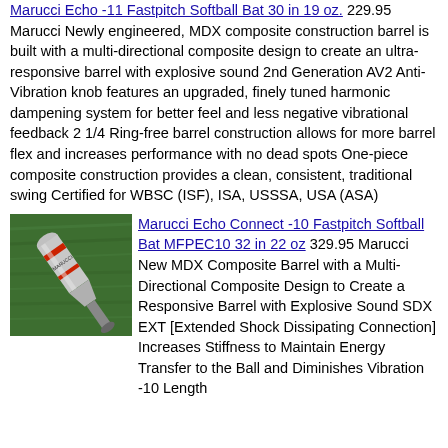Marucci Echo -11 Fastpitch Softball Bat 30 in 19 oz. 229.95 Marucci Newly engineered, MDX composite construction barrel is built with a multi-directional composite design to create an ultra-responsive barrel with explosive sound 2nd Generation AV2 Anti-Vibration knob features an upgraded, finely tuned harmonic dampening system for better feel and less negative vibrational feedback 2 1/4 Ring-free barrel construction allows for more barrel flex and increases performance with no dead spots One-piece composite construction provides a clean, consistent, traditional swing Certified for WBSC (ISF), ISA, USSSA, USA (ASA)
[Figure (photo): Photo of a Marucci softball bat on green grass background. Bat is silver/grey with red accents.]
Marucci Echo Connect -10 Fastpitch Softball Bat MFPEC10 32 in 22 oz 329.95 Marucci New MDX Composite Barrel with a Multi-Directional Composite Design to Create a Responsive Barrel with Explosive Sound SDX EXT [Extended Shock Dissipating Connection] Increases Stiffness to Maintain Energy Transfer to the Ball and Diminishes Vibration -10 Length